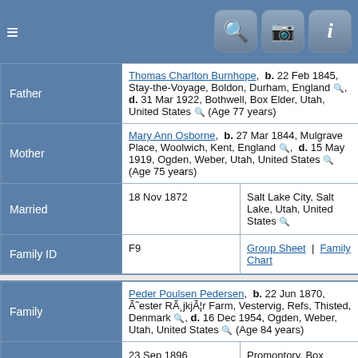| Father |  |
| --- | --- |
| Father | Thomas Charlton Burnhope,  b. 22 Feb 1845, Stay-the-Voyage, Boldon, Durham, England 🔍,  d. 31 Mar 1922, Bothwell, Box Elder, Utah, United States 🔍 (Age 77 years) |
| Mother | Mary Ann Osborne,  b. 27 Mar 1844, Mulgrave Place, Woolwich, Kent, England 🔍,  d. 15 May 1919, Ogden, Weber, Utah, United States 🔍 (Age 75 years) |
| Married | 18 Nov 1872 | Salt Lake City, Salt Lake, Utah, United States 🔍 |
| Family ID | F9 | Group Sheet | Family Chart |
| Family |  |
| --- | --- |
| Family | Peder Poulsen Pedersen,  b. 22 Jun 1870, Øster Røjkjær Farm, Vestervig, Refs, Thisted, Denmark 🔍,  d. 16 Dec 1954, Ogden, Weber, Utah, United States 🔍 (Age 84 years) |
| Married | 23 Sep 1896 | Promontory, Box Elder, Utah, United States 🔍 |
| Children | 1. Albert Charlton Petersen,  b. 26 Oct 1897, Ogden, Weber, Utah, United States 🔍,  d. 21 Sep 1902, Ogden, Weber, Utah, United States 🔍 (Age 4 years)
2. Carl Frederick Petersen,  b. 16 Mar 1900, Ogden |